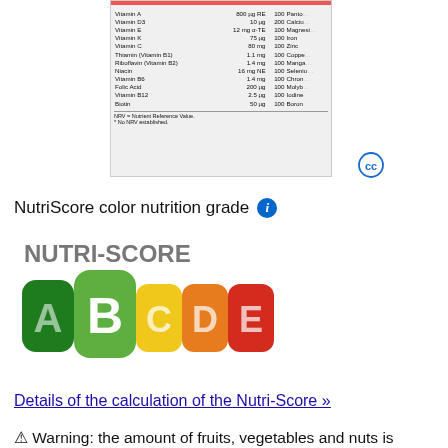[Figure (photo): Nutrition label showing vitamins and minerals including Vitamin A, D3, E, K, C, Thiamin, Riboflavin, Niacin, Vitamin B6, Folic Acid, Vitamin B12, Biotin with amounts and NRV percentages. Footnote: NRV = Nutrient Reference Value. * No NRV established.]
[Figure (logo): Creative Commons (cc) icon in blue circle]
NutriScore color nutrition grade
[Figure (infographic): NUTRI-SCORE graphic showing grades A through E with color scale from green (A, B) to yellow (C) to orange (D) to red (E). Grade B is highlighted/enlarged.]
Details of the calculation of the Nutri-Score »
⚠ Warning: the amount of fruits, vegetables and nuts is